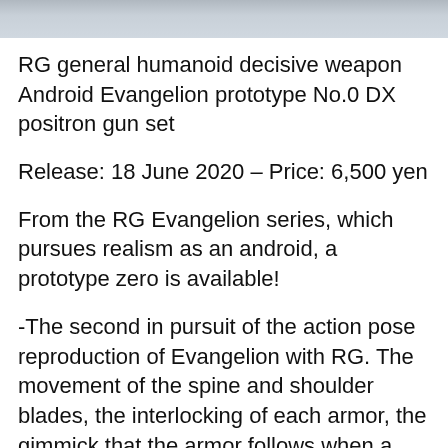[Figure (photo): Partial photo strip at top of page, showing a blurred/cropped image, likely of the Evangelion model product.]
RG general humanoid decisive weapon Android Evangelion prototype No.0 DX positron gun set
Release: 18 June 2020 – Price: 6,500 yen
From the RG Evangelion series, which pursues realism as an android, a prototype zero is available!
-The second in pursuit of the action pose reproduction of Evangelion with RG. The movement of the spine and shoulder blades, the interlocking of each armor, the gimmick that the armor follows when a twist is added to the arm, etc., further considered and